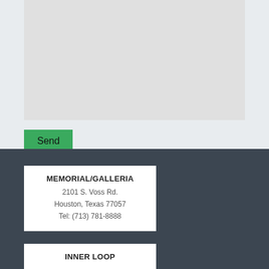[Figure (screenshot): Light grey textarea/form input area]
Send
MEMORIAL/GALLERIA
2101 S. Voss Rd.
Houston, Texas 77057
Tel: (713) 781-8888
INNER LOOP